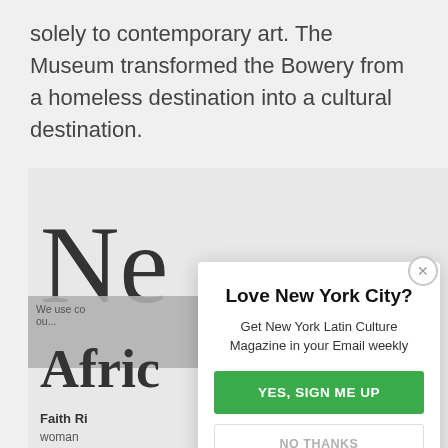solely to contemporary art. The Museum transformed the Bowery from a homeless destination into a cultural destination.
[Figure (screenshot): Background of a webpage showing partial large text 'Ne' and 'Africa' with cookie notice, overlaid by a modal popup]
Love New York City?
Get New York Latin Culture Magazine in your Email weekly
YES, SIGN ME UP
NO THANKS